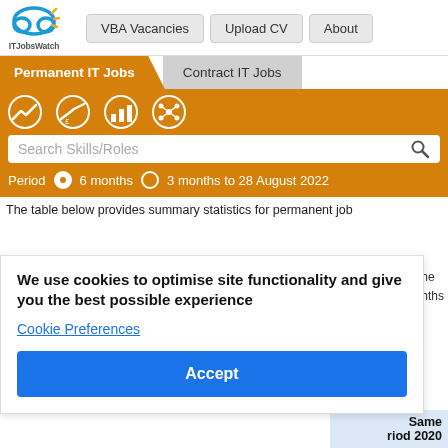ITJobsWatch | VBA Vacancies | Upload CV | About
Permanent IT Jobs | Contract IT Jobs
Search Skills/Roles
Period  6 months  3 months to 28 August 2022
The table below provides summary statistics for permanent job
We use cookies to optimise site functionality and give you the best possible experience
Cookie Preferences
Accept
to the months ne
Same riod 2020